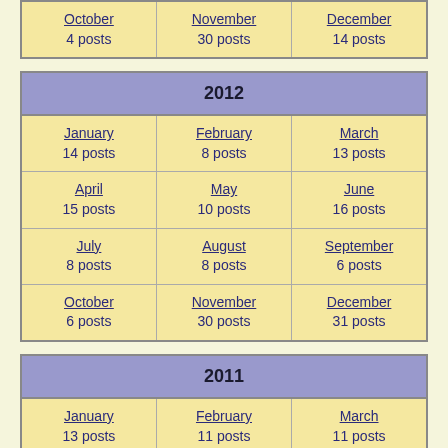| October | November | December |
| --- | --- | --- |
| 4 posts | 30 posts | 14 posts |
| 2012 |
| --- |
| January 14 posts | February 8 posts | March 13 posts |
| April 15 posts | May 10 posts | June 16 posts |
| July 8 posts | August 8 posts | September 6 posts |
| October 6 posts | November 30 posts | December 31 posts |
| 2011 |
| --- |
| January 13 posts | February 11 posts | March 11 posts |